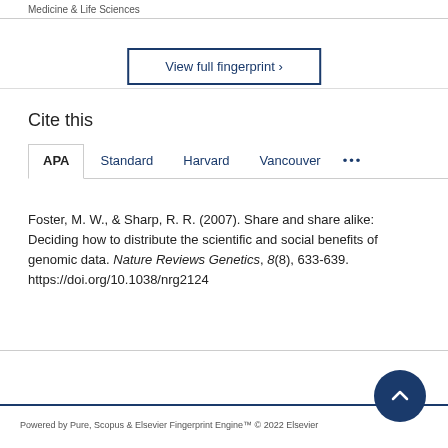Medicine & Life Sciences
View full fingerprint ›
Cite this
APA  Standard  Harvard  Vancouver  ...
Foster, M. W., & Sharp, R. R. (2007). Share and share alike: Deciding how to distribute the scientific and social benefits of genomic data. Nature Reviews Genetics, 8(8), 633-639. https://doi.org/10.1038/nrg2124